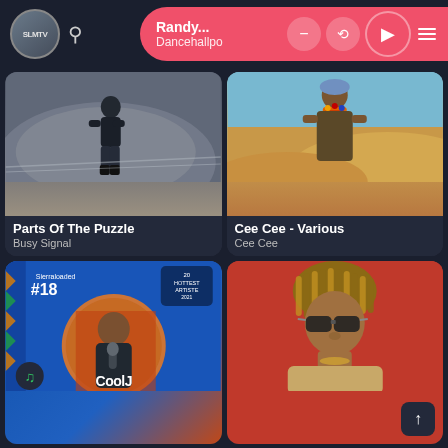[Figure (screenshot): Music app UI screenshot showing SLMTV logo, search icon, and a now-playing bar for 'Randy...' / 'Dancehallpo' in pink/salmon color with playback controls]
[Figure (photo): Album art for 'Parts Of The Puzzle' by Busy Signal - person sitting on a ramp in dark clothing]
Parts Of The Puzzle
Busy Signal
[Figure (photo): Album art for 'Cee Cee - Various' by Cee Cee - woman in sparkly outfit against desert/sand dunes]
Cee Cee - Various
Cee Cee
[Figure (photo): Promotional image for Cool J - #18 on Sierraloaded 20 Hottest Artiste, person with microphone on blue background with decorative patterns]
[Figure (photo): Photo of a male artist wearing sunglasses against a red background]